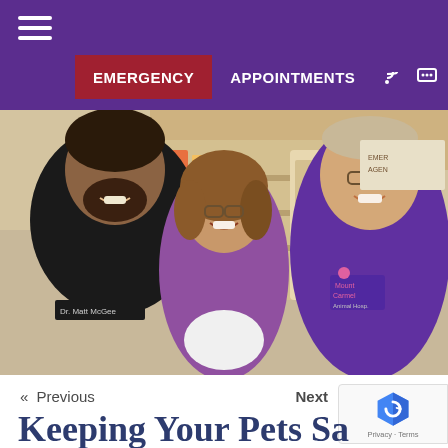EMERGENCY   APPOINTMENTS
[Figure (photo): Three smiling veterinary staff members posing in a clinic: a man with dark beard on the left labeled 'Dr. Matt McGee' wearing a black Mount Carmel Animal Hospital uniform; a woman in the center wearing glasses and a purple top; a tall man on the right wearing purple scrubs with Mount Carmel Animal Hospital logo]
« Previous
Keeping Your Pets Sa...